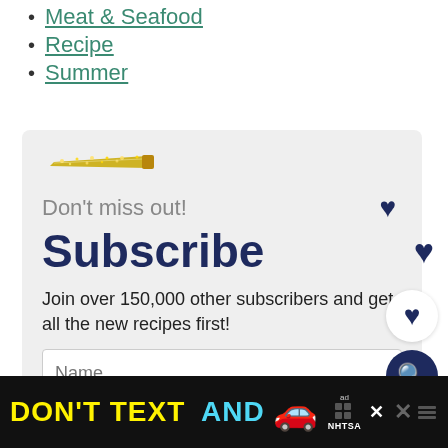Meat & Seafood
Recipe
Summer
[Figure (infographic): Subscribe box with gold knife illustration, 'Don't miss out!' heading, 'Subscribe' title, body text, name input field, floating heart icons and search button]
[Figure (infographic): Bottom banner advertisement: 'DON'T TEXT AND' in yellow and cyan with car emoji and NHTSA logo]